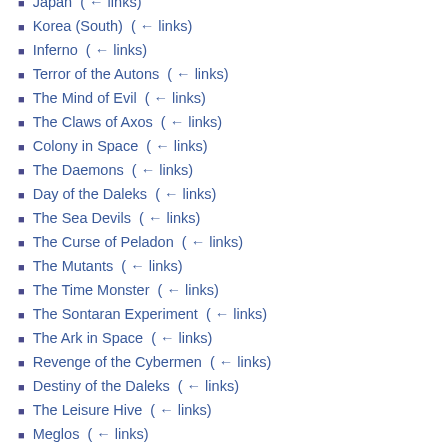Japan  (← links)
Korea (South)  (← links)
Inferno  (← links)
Terror of the Autons  (← links)
The Mind of Evil  (← links)
The Claws of Axos  (← links)
Colony in Space  (← links)
The Daemons  (← links)
Day of the Daleks  (← links)
The Sea Devils  (← links)
The Curse of Peladon  (← links)
The Mutants  (← links)
The Time Monster  (← links)
The Sontaran Experiment  (← links)
The Ark in Space  (← links)
Revenge of the Cybermen  (← links)
Destiny of the Daleks  (← links)
The Leisure Hive  (← links)
Meglos  (← links)
Full Circle  (← links)
Selling Doctor Who  (← links)
First airings by location  (← links)